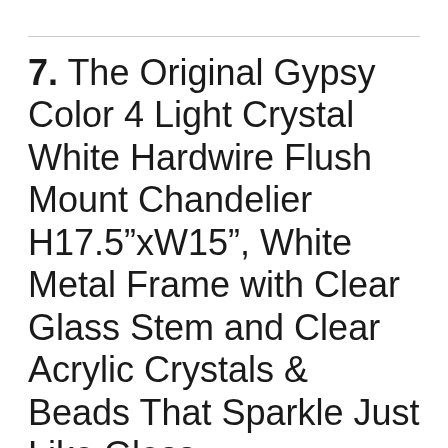7. The Original Gypsy Color 4 Light Crystal White Hardwire Flush Mount Chandelier H17.5"xW15", White Metal Frame with Clear Glass Stem and Clear Acrylic Crystals & Beads That Sparkle Just Like Glass